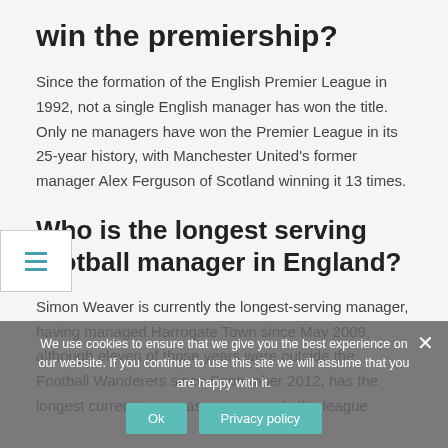win the premiership?
Since the formation of the English Premier League in 1992, not a single English manager has won the title. Only ne managers have won the Premier League in its 25-year history, with Manchester United's former manager Alex Ferguson of Scotland winning it 13 times.
Who is the longest serving football manager in England?
Simon Weaver is currently the longest-serving manager, having managed Harrogate Town since May 2009, although eleven of those years were outside the Football Wanderers since September 2012, has the longest current tenure as a manager in the league
We use cookies to ensure that we give you the best experience on our website. If you continue to use this site we will assume that you are happy with it.